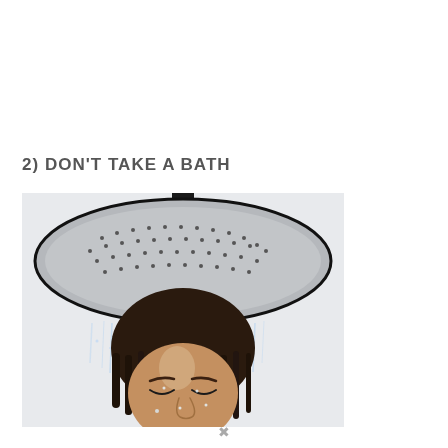2) DON'T TAKE A BATH
[Figure (photo): A person with eyes closed being showered by a large round rain shower head, water droplets visible everywhere, photographed from below/front angle against a white background.]
↓